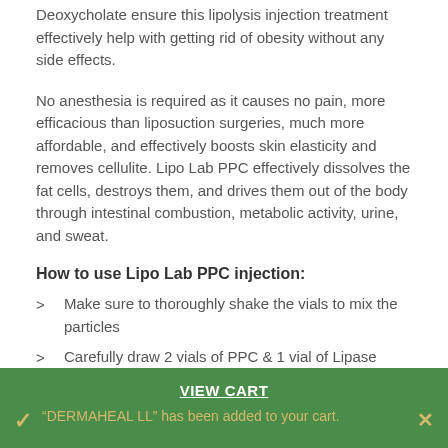Deoxycholate ensure this lipolysis injection treatment effectively help with getting rid of obesity without any side effects.
No anesthesia is required as it causes no pain, more efficacious than liposuction surgeries, much more affordable, and effectively boosts skin elasticity and removes cellulite. Lipo Lab PPC effectively dissolves the fat cells, destroys them, and drives them out of the body through intestinal combustion, metabolic activity, urine, and sweat.
How to use Lipo Lab PPC injection:
Make sure to thoroughly shake the vials to mix the particles
Carefully draw 2 vials of PPC & 1 vial of Lipase (Hyaluronidase) with a 20mL syringe.
VIEW CART
"DERMAHEAL LL" has been added to your cart.